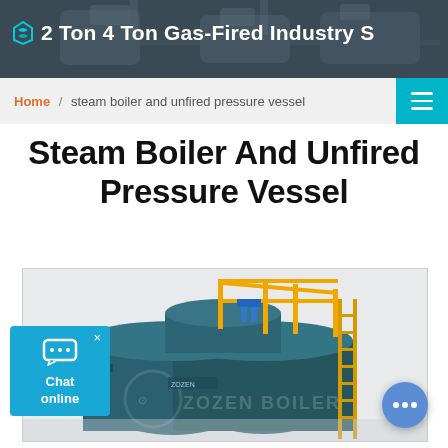2 Ton 4 Ton Gas-Fired Industry S
Home / steam boiler and unfired pressure vessel
Steam Boiler And Unfired Pressure Vessel
[Figure (photo): Industrial gas-fired steam boiler (ZOZEN BOILER) with yellow safety ladder and railings on top, painted in dark teal/green color, with various pipes and valves visible]
Chat online